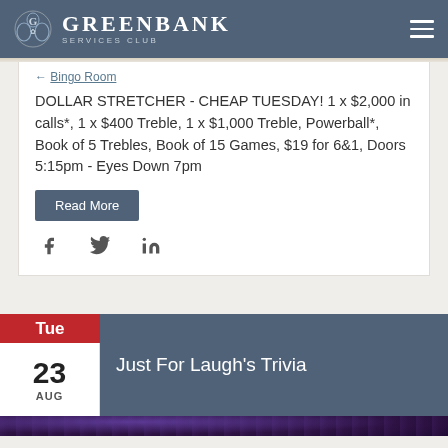GREENBANK SERVICES CLUB
← Bingo Room
DOLLAR STRETCHER - CHEAP TUESDAY! 1 x $2,000 in calls*, 1 x $400 Treble, 1 x $1,000 Treble, Powerball*, Book of 5 Trebles, Book of 15 Games, $19 for 6&1, Doors 5:15pm - Eyes Down 7pm
Read More
Tue 23 AUG
Just For Laugh's Trivia